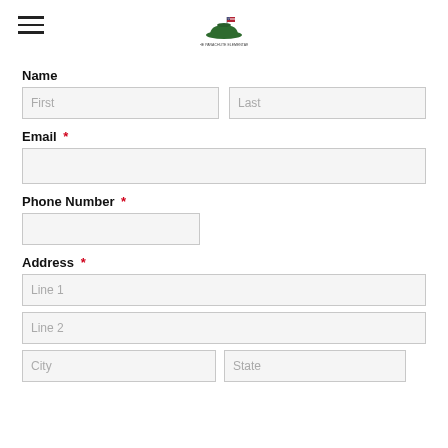[Figure (logo): Hamburger menu icon (three horizontal lines) on the left, and a logo in the center showing a green military-style hat with a small American flag and text below it.]
Name
First (placeholder), Last (placeholder)
Email *
Email input field
Phone Number *
Phone number input field
Address *
Line 1 (placeholder)
Line 2 (placeholder)
City (placeholder), State (placeholder)